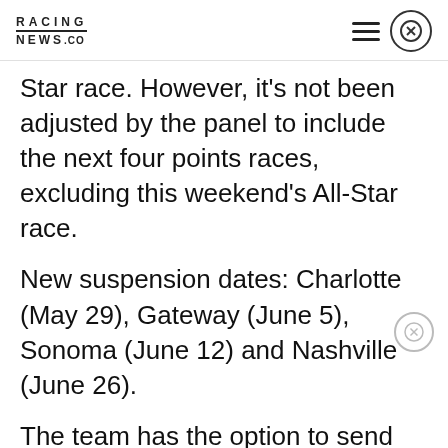RACING NEWS.CO
Star race. However, it's not been adjusted by the panel to include the next four points races, excluding this weekend's All-Star race.
New suspension dates: Charlotte (May 29), Gateway (June 5), Sonoma (June 12) and Nashville (June 26).
The team has the option to send the case to the National Motorsports Final Appeals Officer. That would be their last option an an attempt to reverse the penalty. Yet, the team did not inform NASCAR if they plan to do that or not.